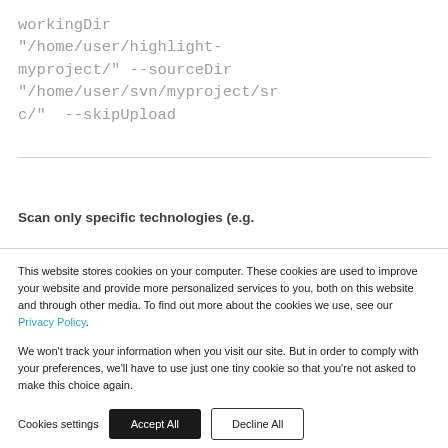workingDir "/home/user/highlight-myproject/" --sourceDir "/home/user/svn/myproject/src/"  --skipUpload
Scan only specific technologies (e.g.
This website stores cookies on your computer. These cookies are used to improve your website and provide more personalized services to you, both on this website and through other media. To find out more about the cookies we use, see our Privacy Policy.
We won't track your information when you visit our site. But in order to comply with your preferences, we'll have to use just one tiny cookie so that you're not asked to make this choice again.
Cookies settings | Accept All | Decline All